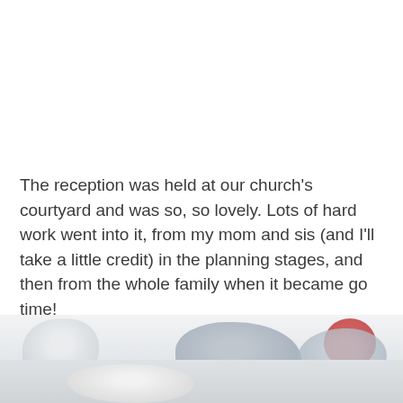The reception was held at our church's courtyard and was so, so lovely. Lots of hard work went into it, from my mom and sis (and I'll take a little credit) in the planning stages, and then from the whole family when it became go time!
[Figure (photo): Blurred photo of what appears to be decorative items or flowers at a reception, shown in light blue-grey tones with a small red accent, partial view at bottom of page]